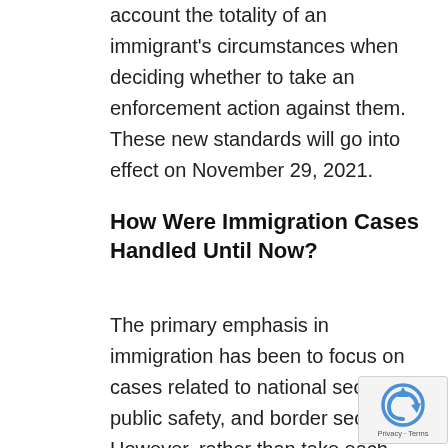account the totality of an immigrant's circumstances when deciding whether to take an enforcement action against them. These new standards will go into effect on November 29, 2021.
How Were Immigration Cases Handled Until Now?
The primary emphasis in immigration has been to focus on cases related to national security, public safety, and border security. However, rather than take each case on its own, DHS handled cases on a categorical basis, with every case